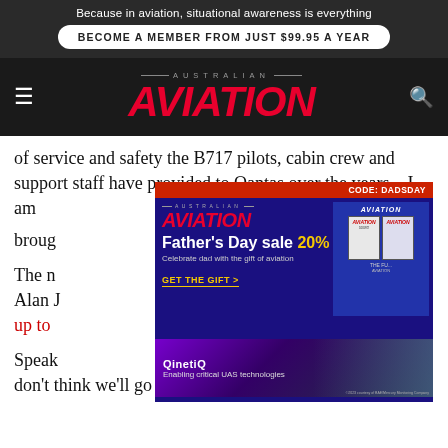Because in aviation, situational awareness is everything
BECOME A MEMBER FROM JUST $99.95 A YEAR
AUSTRALIAN AVIATION
of service and safety the B717 pilots, cabin crew and support staff have provided to Qantas over the years – I am brought
[Figure (advertisement): Australian Aviation Father's Day sale 20% off advertisement with CODE: DADSDAY, blue background, magazine device images]
[Figure (advertisement): QinetiQ - Enabling critical UAS technologies advertisement banner]
The n[...] ive Alan J[...] ating up to [...] here". Speaking [...] We don't think we'll go back to 100 per cent honestly in